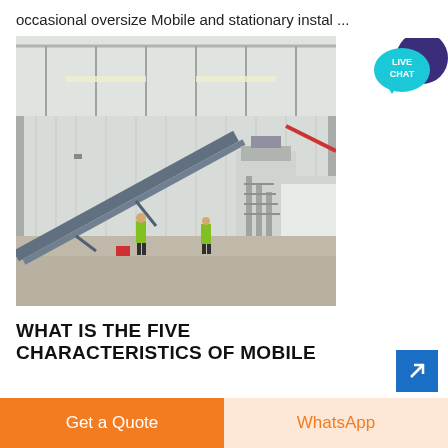occasional oversize Mobile and stationary instal …
[Figure (photo): Interior of a large industrial warehouse with corrugated metal walls and roof. A diagonal conveyor belt runs from lower-left to upper-right. Industrial machinery is visible in the right background. Two workers in high-visibility vests are standing on the warehouse floor.]
WHAT IS THE FIVE CHARACTERISTICS OF MOBILE